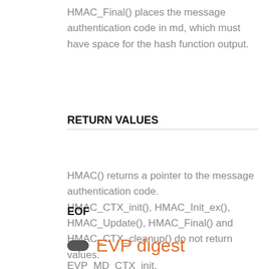HMAC_Final() places the message authentication code in md, which must have space for the hash function output.
RETURN VALUES
HMAC() returns a pointer to the message authentication code.
HMAC_CTX_init(), HMAC_Init_ex(), HMAC_Update(), HMAC_Final() and HMAC_CTX_cleanup() do not return values.
EOF
EVP digest
EVP_MD_CTX_init, EVP_MD_CTX_create,